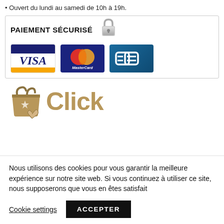• Ouvert du lundi au samedi de 10h à 19h.
[Figure (infographic): PAIEMENT SÉCURISÉ box with lock icon and VISA, MasterCard, Carte Bleue payment logos]
[Figure (logo): Shopping bag illustration with 'Click' text in gold/brown color]
Nous utilisons des cookies pour vous garantir la meilleure expérience sur notre site web. Si vous continuez à utiliser ce site, nous supposerons que vous en êtes satisfait
Cookie settings   ACCEPTER